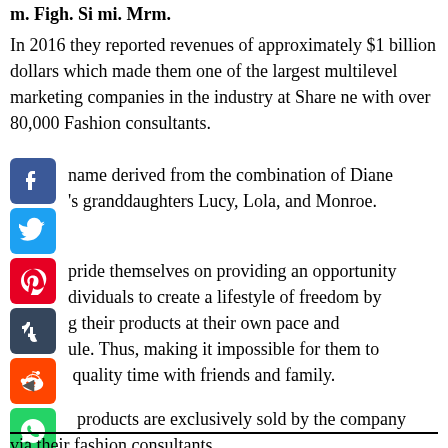m. Figh. Si mi. Mrm.
In 2016 they reported revenues of approximately $1 billion dollars which made them one of the largest multilevel marketing companies in the industry at Share ne with over 80,000 Fashion consultants.
[Figure (other): Social media share buttons: Facebook, Twitter, Pinterest, Tumblr, Reddit, WhatsApp, Messenger icons stacked vertically]
name derived from the combination of Diane 's granddaughters Lucy, Lola, and Monroe.
pride themselves on providing an opportunity dividuals to create a lifestyle of freedom by g their products at their own pace and ule. Thus, making it impossible for them to quality time with friends and family.
products are exclusively sold by the company via their fashion consultants.